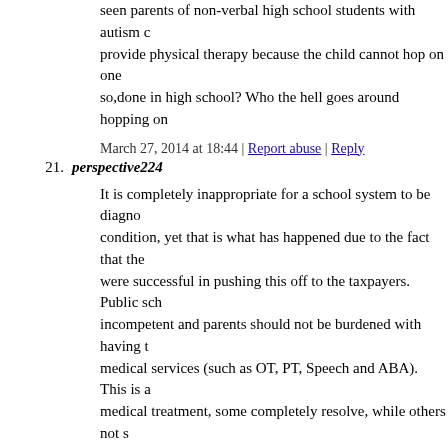seen parents of non-verbal high school students with autism c... provide physical therapy because the child cannot hop on one ... so,done in high school? Who the hell goes around hopping on
March 27, 2014 at 18:44 | Report abuse | Reply
21. perspective224
It is completely inappropriate for a school system to be diagno... condition, yet that is what has happened due to the fact that the... were successful in pushing this off to the taxpayers. Public sch... incompetent and parents should not be burdened with having t... medical services (such as OT, PT, Speech and ABA). This is a... medical treatment, some completely resolve, while others not s... that the medical community turned its back on these children.
March 27, 2014 at 19:41 | Report abuse | Reply
22. aschealthcare
public schools paying heavily for the increase in diagnosis for
October 11, 2014 at 02:25 | Report abuse | Reply
23. Kristofer
Ive never read something like this prior to. So nice to locate so... thoughts on this subject, really thank you for beginning this up... that is necessary on the web, somebody having a small origina